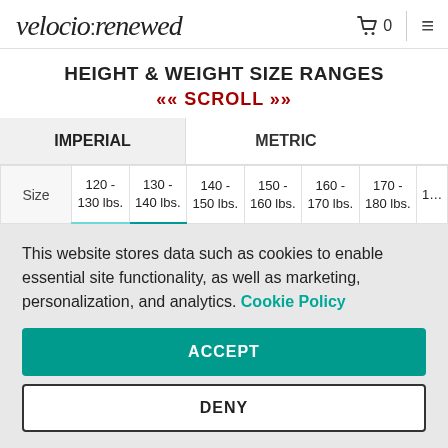velocio:renewed
HEIGHT & WEIGHT SIZE RANGES
«« SCROLL »»
| Size | 120 - 130 lbs. | 130 - 140 lbs. | 140 - 150 lbs. | 150 - 160 lbs. | 160 - 170 lbs. | 170 - 180 lbs. | 1… |
| --- | --- | --- | --- | --- | --- | --- | --- |
This website stores data such as cookies to enable essential site functionality, as well as marketing, personalization, and analytics. Cookie Policy
ACCEPT
DENY